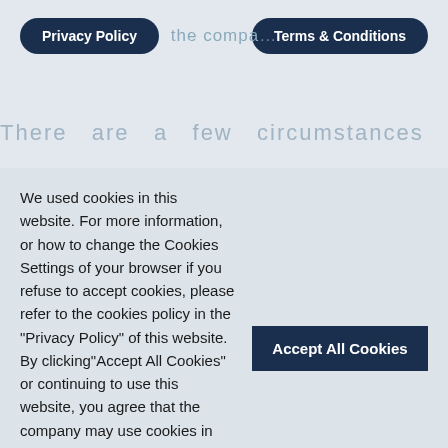Privacy Policy   the compa...   Terms & Conditions
There are a few circumstances when
We used cookies in this website. For more information, or how to change the Cookies Settings of your browser if you refuse to accept cookies, please refer to the cookies policy in the "Privacy Policy" of this website. By clicking"Accept All Cookies" or continuing to use this website, you agree that the company may use cookies in accordance with the "Privacy Policy" of this website. Learn More